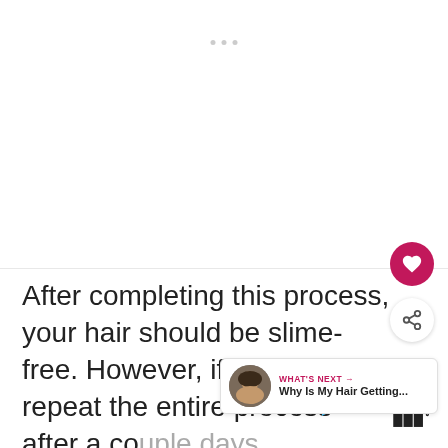[Figure (other): White image area with decorative dots at top, likely a carousel or media placeholder]
After completing this process, your hair should be slime-free. However, if it is not, repeat the entire process after a couple days. Sometimes, it takes several sessions to get all of the slime out.
[Figure (other): WHAT'S NEXT card with thumbnail of person with curly hair and title 'Why Is My Hair Getting...']